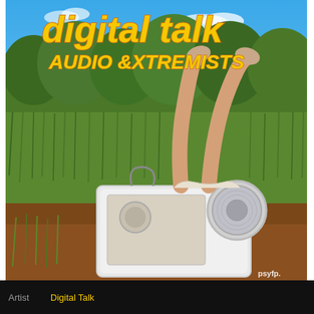[Figure (illustration): Album cover for Digital Talk - Audio Extremists. Shows an outdoor scene with blue sky, green grass and bushes in background. A person's legs stick up out of a large white speaker/audio box in the foreground, surrounded by tall grass and red dirt. Text reads 'digital talk' in large yellow italic bold font at top, with 'audio extremists' below it. Small 'psyfp.' watermark in bottom right corner of the image.]
Artist    Digital Talk